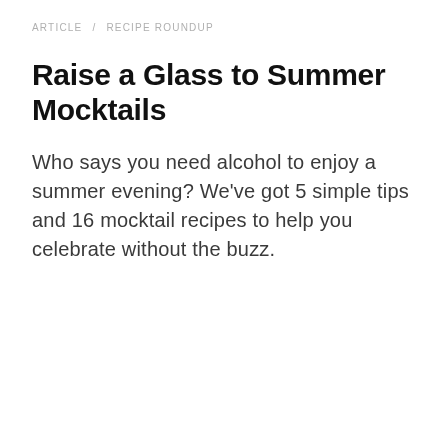ARTICLE / RECIPE ROUNDUP
Raise a Glass to Summer Mocktails
Who says you need alcohol to enjoy a summer evening? We've got 5 simple tips and 16 mocktail recipes to help you celebrate without the buzz.